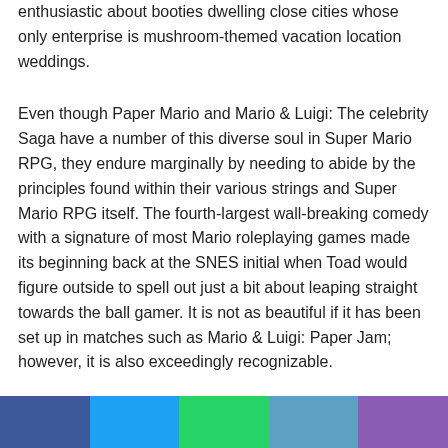enthusiastic about booties dwelling close cities whose only enterprise is mushroom-themed vacation location weddings.
Even though Paper Mario and Mario & Luigi: The celebrity Saga have a number of this diverse soul in Super Mario RPG, they endure marginally by needing to abide by the principles found within their various strings and Super Mario RPG itself. The fourth-largest wall-breaking comedy with a signature of most Mario roleplaying games made its beginning back at the SNES initial when Toad would figure outside to spell out just a bit about leaping straight towards the ball gamer. It is not as beautiful if it has been set up in matches such as Mario & Luigi: Paper Jam; however, it is also exceedingly recognizable.
Therefore is that your endless demand to get a marvel at just about or even to your the in switching of to and...